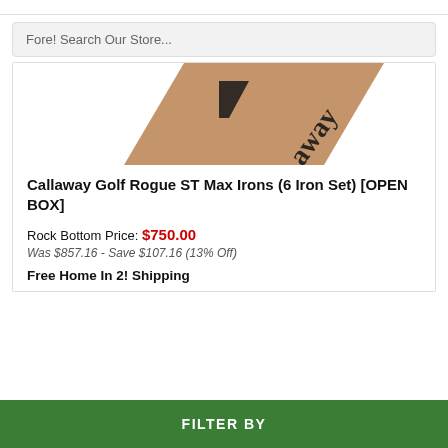Fore! Search Our Store...
[Figure (photo): Partial view of a Callaway golf club box/packaging, showing the Callaway logo and brand name on a tan/brown background.]
Callaway Golf Rogue ST Max Irons (6 Iron Set) [OPEN BOX]
Rock Bottom Price: $750.00
Was $857.16 - Save $107.16 (13% Off)
Free Home In 2! Shipping
FILTER BY